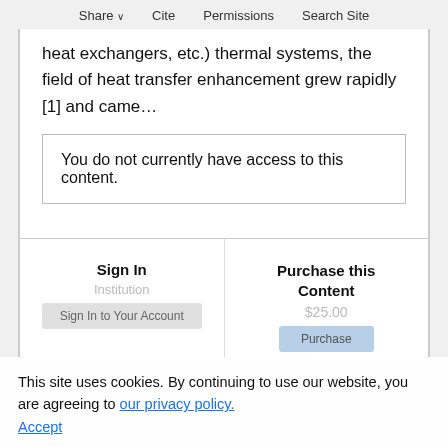Share  Cite  Permissions  Search Site
heat exchangers, etc.) thermal systems, the field of heat transfer enhancement grew rapidly [1] and came…
You do not currently have access to this content.
Sign In
Purchase this Content
This site uses cookies. By continuing to use our website, you are agreeing to our privacy policy. Accept